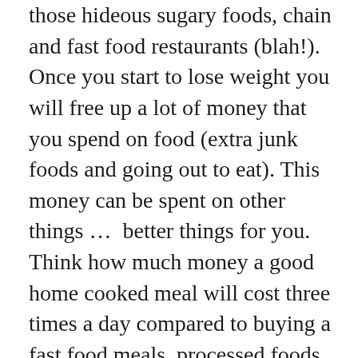those hideous sugary foods, chain and fast food restaurants (blah!). Once you start to lose weight you will free up a lot of money that you spend on food (extra junk foods and going out to eat). This money can be spent on other things …  better things for you. Think how much money a good home cooked meal will cost three times a day compared to buying a fast food meals, processed foods and snacks! Appetite control and moderation included in this thought, too. Processed foods and fatty foods are addictive; removing them from your diet and replacing with whole foods can actually provide proper nutrients and fiber that helps you eat less and spend less on certain foods. For example, an apple is a snack … not a sandwich! A few donuts makes you hungry again and puts you at risk for gaining more weight faster than a smoothie. Think about how much money you have had to spend on larger clothes, furniture or whatever you have needed